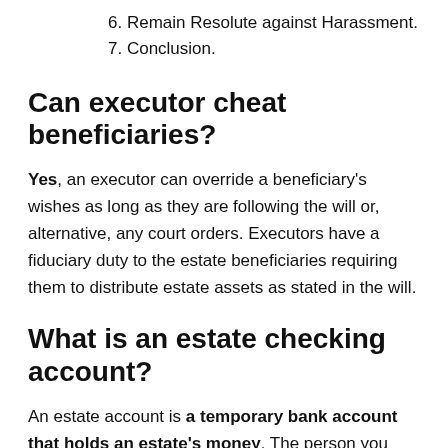6. Remain Resolute against Harassment.
7. Conclusion.
Can executor cheat beneficiaries?
Yes, an executor can override a beneficiary's wishes as long as they are following the will or, alternative, any court orders. Executors have a fiduciary duty to the estate beneficiaries requiring them to distribute estate assets as stated in the will.
What is an estate checking account?
An estate account is a temporary bank account that holds an estate's money. The person you choose to administer your estate will use the account's funds to settle your debts, pay taxes and distribute assets.